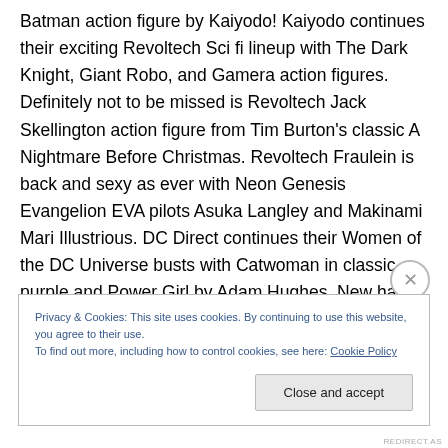Batman action figure by Kaiyodo! Kaiyodo continues their exciting Revoltech Sci fi lineup with The Dark Knight, Giant Robo, and Gamera action figures. Definitely not to be missed is Revoltech Jack Skellington action figure from Tim Burton's classic A Nightmare Before Christmas. Revoltech Fraulein is back and sexy as ever with Neon Genesis Evangelion EVA pilots Asuka Langley and Makinami Mari Illustrious. DC Direct continues their Women of the DC Universe busts with Catwoman in classic purple and Power Girl by Adam Hughes. New half scale versions of classic DC Direct statues featuring
Privacy & Cookies: This site uses cookies. By continuing to use this website, you agree to their use.
To find out more, including how to control cookies, see here: Cookie Policy
Close and accept
REDIRECT.AS